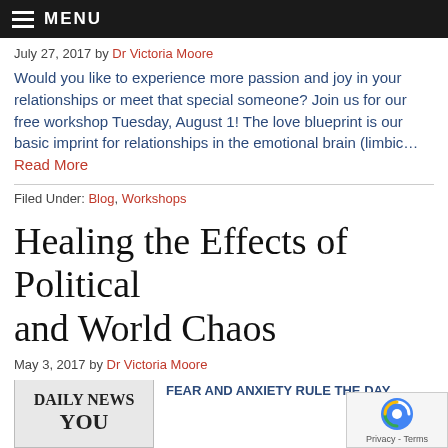MENU
July 27, 2017 by Dr Victoria Moore
Would you like to experience more passion and joy in your relationships or meet that special someone? Join us for our free workshop Tuesday, August 1! The love blueprint is our basic imprint for relationships in the emotional brain (limbic… Read More
Filed Under: Blog, Workshops
Healing the Effects of Political and World Chaos
May 3, 2017 by Dr Victoria Moore
[Figure (photo): Daily News newspaper front page photo]
FEAR AND ANXIETY RULE THE DAY